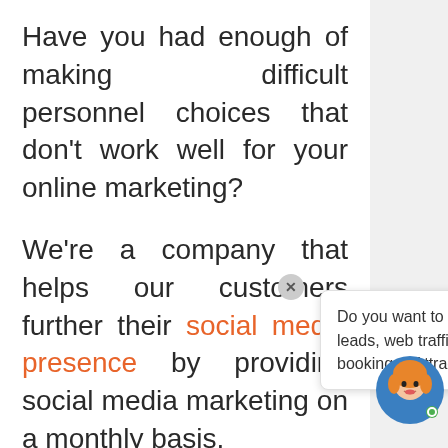Have you had enough of making difficult personnel choices that don't work well for your online marketing?
We're a company that helps our customers further their social media presence by providing social media marketing on a monthly basis.
You might like these blog posts: Recruiting Benefits,
[Figure (other): Chat tooltip popup with close button and avatar. Tooltip reads: 'Do you want to generate leads, web traffic or event bookings? Attract...' with a cartoon female avatar icon.]